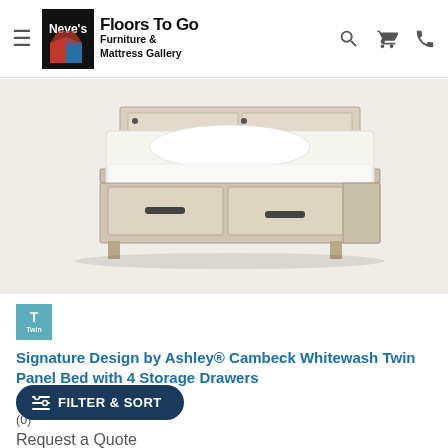Neve's Floors To Go Furniture & Mattress Gallery
[Figure (photo): Whitewash twin panel bed with 4 storage drawers shown at angle, whitewash wood finish, two drawers visible under mattress, white bedding.]
T (Twin size badge)
Signature Design by Ashley® Cambeck Whitewash Twin Panel Bed with 4 Storage Drawers
Model #: B192B21
(0)
Request a Quote